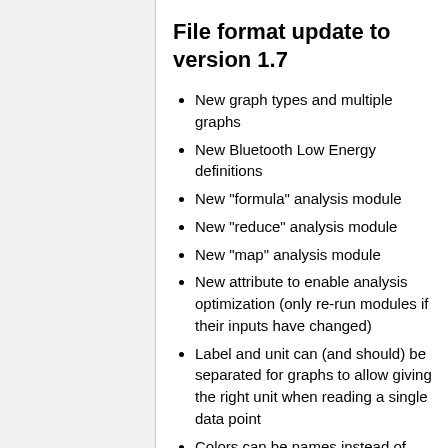File format update to version 1.7
New graph types and multiple graphs
New Bluetooth Low Energy definitions
New "formula" analysis module
New "reduce" analysis module
New "map" analysis module
New attribute to enable analysis optimization (only re-run modules if their inputs have changed)
Label and unit can (and should) be separated for graphs to allow giving the right unit when reading a single data point
Colors can be names instead of RGB hex values
Value and info elements may now be ...